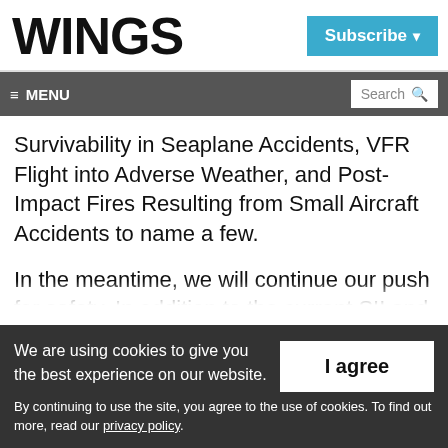WINGS
≡ MENU
Survivability in Seaplane Accidents, VFR Flight into Adverse Weather, and Post-Impact Fires Resulting from Small Aircraft Accidents to name a few.
In the meantime, we will continue our push for safety. In addition to the current SII and our
We are using cookies to give you the best experience on our website.
By continuing to use the site, you agree to the use of cookies. To find out more, read our privacy policy.